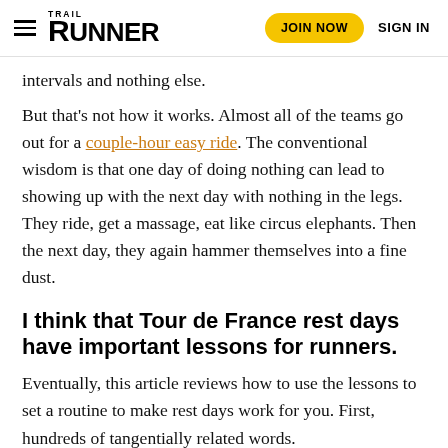TRAIL RUNNER | JOIN NOW | SIGN IN
intervals and nothing else.
But that's not how it works. Almost all of the teams go out for a couple-hour easy ride. The conventional wisdom is that one day of doing nothing can lead to showing up with the next day with nothing in the legs. They ride, get a massage, eat like circus elephants. Then the next day, they again hammer themselves into a fine dust.
I think that Tour de France rest days have important lessons for runners.
Eventually, this article reviews how to use the lessons to set a routine to make rest days work for you. First, hundreds of tangentially related words.